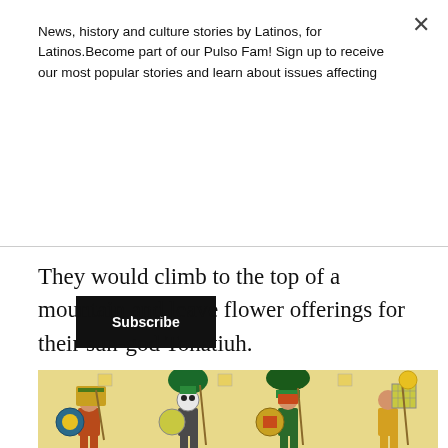News, history and culture stories by Latinos, for Latinos.Become part of our Pulso Fam! Sign up to receive our most popular stories and learn about issues affecting
Subscribe
They would climb to the top of a mountain and leave flower offerings for their sun-god Tonatiuh.
[Figure (illustration): Aztec codex illustration showing warriors or figures in traditional regalia with headdresses, shields, and spears on a yellow background]